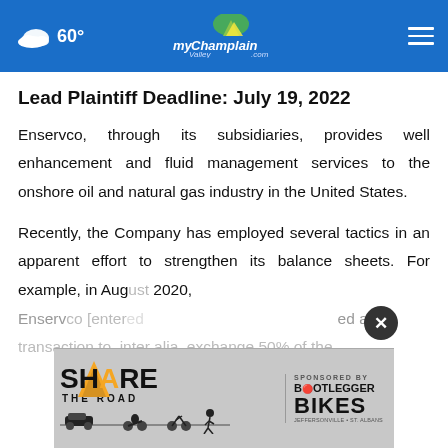60° myChamplainValley.com
Lead Plaintiff Deadline: July 19, 2022
Enservco, through its subsidiaries, provides well enhancement and fluid management services to the onshore oil and natural gas industry in the United States.
Recently, the Company has employed several tactics in an apparent effort to strengthen its balance sheets. For example, in Aug[ust] 2020, Enservco [entered into] a transaction to, inter alia, exchange 50% of the
[Figure (screenshot): Advertisement banner: Share the Road campaign with Bootlegger Bikes sponsorship. Features bold SHARE text with a road illustration and silhouettes of vehicles and cyclists.]